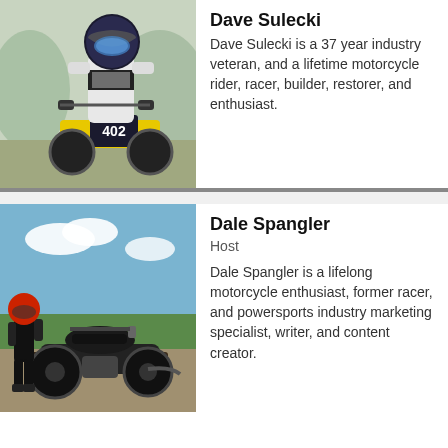[Figure (photo): Motocross rider wearing white and black gear with helmet and goggles, riding a yellow dirt bike with number 402]
Dave Sulecki
Dave Sulecki is a 37 year industry veteran, and a lifetime motorcycle rider, racer, builder, restorer, and enthusiast.
[Figure (photo): Person in black gear with red helmet standing next to a dark-colored classic-style motorcycle on a dirt road with blue sky and green fields in background]
Dale Spangler
Host
Dale Spangler is a lifelong motorcycle enthusiast, former racer, and powersports industry marketing specialist, writer, and content creator.